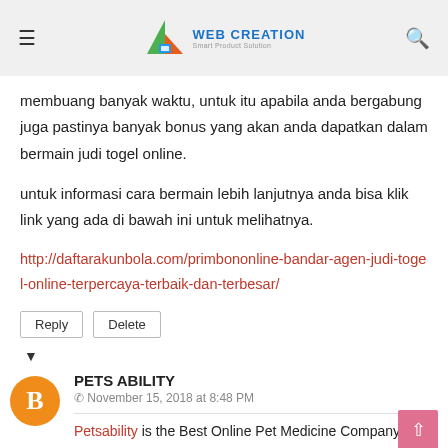Web Creation [logo with menu and search icons]
membuang banyak waktu, untuk itu apabila anda bergabung juga pastinya banyak bonus yang akan anda dapatkan dalam bermain judi togel online.
untuk informasi cara bermain lebih lanjutnya anda bisa klik link yang ada di bawah ini untuk melihatnya.
http://daftarakunbola.com/primbononline-bandar-agen-judi-togel-online-terpercaya-terbaik-dan-terbesar/
Reply   Delete
PETS ABILITY
November 15, 2018 at 8:48 PM
Petsability is the Best Online Pet Medicine Company. You